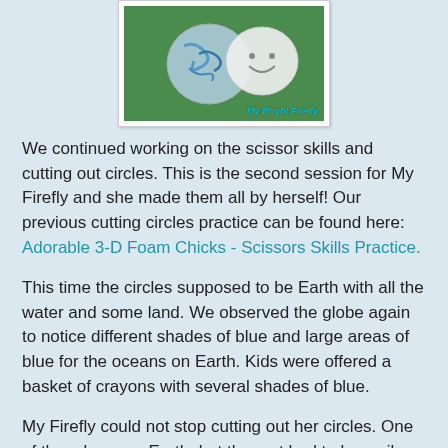[Figure (photo): Photo of paper circles decorated as Earth and smiley faces on a green background, with watermark text 'My Bright Firefly']
We continued working on the scissor skills and cutting out circles. This is the second session for My Firefly and she made them all by herself! Our previous cutting circles practice can be found here: Adorable 3-D Foam Chicks - Scissors Skills Practice.
This time the circles supposed to be Earth with all the water and some land. We observed the globe again to notice different shades of blue and large areas of blue for the oceans on Earth. Kids were offered a basket of crayons with several shades of blue.
My Firefly could not stop cutting out her circles. One of them became Earth, but the rest had to be smiley faces. So we had to end our session with lots of smiles :)
You are very welcome to follow us here: